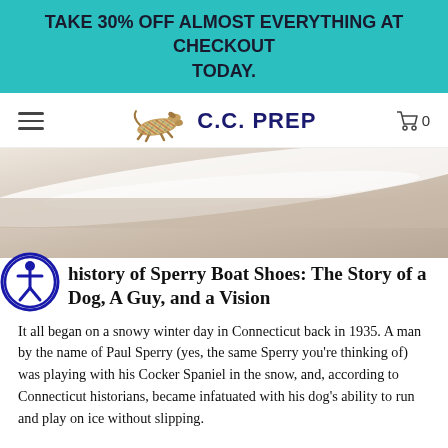TAKE 30% OFF ALMOST EVERYTHING AT CHECKOUT TODAY.
[Figure (logo): C.C. PREP logo with running greyhound dog illustration and navigation bar with hamburger menu and cart icon showing 0 items]
[Figure (photo): Close-up photo of white boat shoe sole against a sandy/wooden surface background]
history of Sperry Boat Shoes: The Story of a Dog, A Guy, and a Vision
It all began on a snowy winter day in Connecticut back in 1935. A man by the name of Paul Sperry (yes, the same Sperry you're thinking of) was playing with his Cocker Spaniel in the snow, and, according to Connecticut historians, became infatuated with his dog's ability to run and play on ice without slipping.